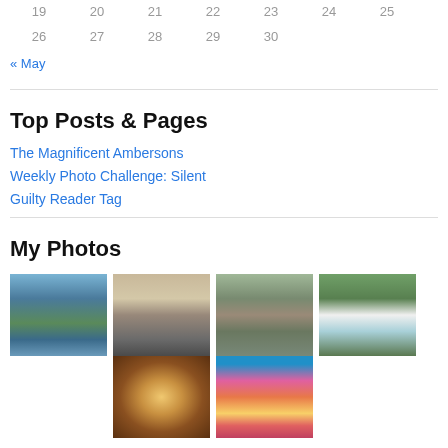| 19 | 20 | 21 | 22 | 23 | 24 | 25 |
| 26 | 27 | 28 | 29 | 30 |  |  |
« May
Top Posts & Pages
The Magnificent Ambersons
Weekly Photo Challenge: Silent
Guilty Reader Tag
My Photos
[Figure (photo): Snow-capped mountains reflected in a calm lake]
[Figure (photo): Lone tree silhouetted over still water at dusk]
[Figure (photo): Stone ruins beside a river in misty green forest]
[Figure (photo): Fast-flowing stream through green forested landscape]
[Figure (photo): Interior dome ceiling with circular light]
[Figure (photo): Colorful pink building with windows and shutters]